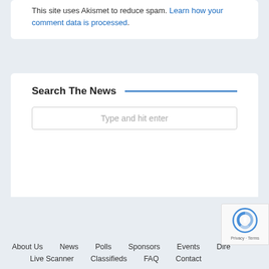This site uses Akismet to reduce spam. Learn how your comment data is processed.
Search The News
Type and hit enter
About Us   News   Polls   Sponsors   Events   Dire...   Live Scanner   Classifieds   FAQ   Contact